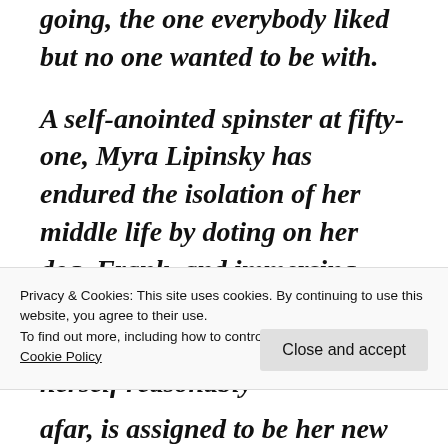going, the one everybody liked but no one wanted to be with.
A self-anointed spinster at fifty-one, Myra Lipinsky has endured the isolation of her middle life by doting on her dog, Frank, and immersing herself in her career as a visiting nurse. Myra considers herself reasonably
Privacy & Cookies: This site uses cookies. By continuing to use this website, you agree to their use.
To find out more, including how to control cookies, see here: Cookie Policy
Close and accept
afar, is assigned to be her new